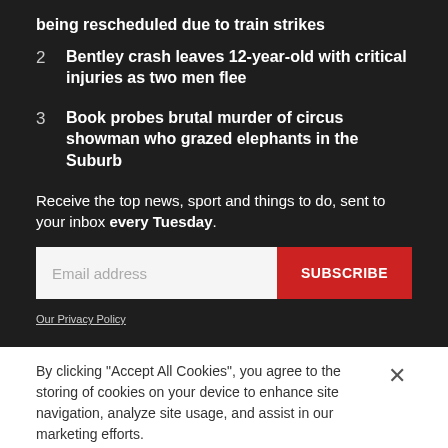being rescheduled due to train strikes
2 Bentley crash leaves 12-year-old with critical injuries as two men flee
3 Book probes brutal murder of circus showman who grazed elephants in the Suburb
Receive the top news, sport and things to do, sent to your inbox every Tuesday.
Email address
SUBSCRIBE
Our Privacy Policy
By clicking "Accept All Cookies", you agree to the storing of cookies on your device to enhance site navigation, analyze site usage, and assist in our marketing efforts.